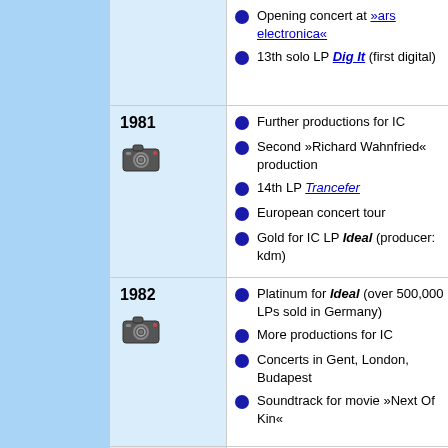Opening concert at »ars electronica«
13th solo LP Dig It (first digital)
1981
Further productions for IC
Second »Richard Wahnfried« production
14th LP Trancefer
European concert tour
Gold for IC LP Ideal (producer: kdm)
1982
Platinum for Ideal (over 500,000 LPs sold in Germany)
More productions for IC
Concerts in Gent, London, Budapest
Soundtrack for movie »Next Of Kin«
1983
15th LP Audentity
Largest European concert tour